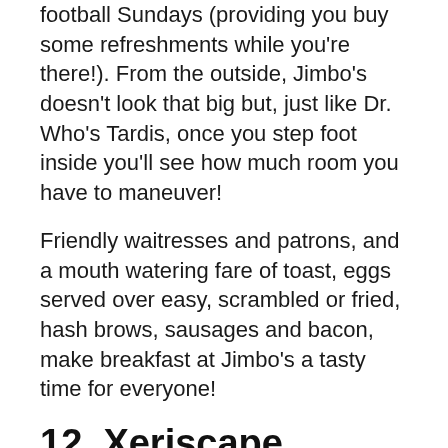football Sundays (providing you buy some refreshments while you're there!). From the outside, Jimbo's doesn't look that big but, just like Dr. Who's Tardis, once you step foot inside you'll see how much room you have to maneuver!
Friendly waitresses and patrons, and a mouth watering fare of toast, eggs served over easy, scrambled or fried, hash brows, sausages and bacon, make breakfast at Jimbo's a tasty time for everyone!
12. Xeriscape Botanical Gardens
[Figure (infographic): Advertisement banner: 'I Bake COOKIES For A CURE' with photo of a child and 'So can you!' text and cookies for kids cancer green circle logo, with close buttons]